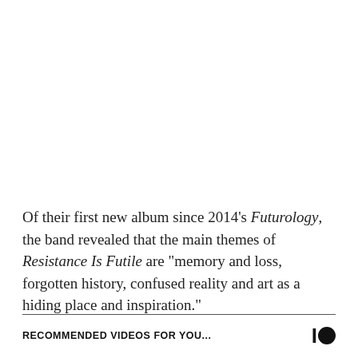Of their first new album since 2014's Futurology, the band revealed that the main themes of Resistance Is Futile are “memory and loss, forgotten history, confused reality and art as a hiding place and inspiration.”
RECOMMENDED VIDEOS FOR YOU...